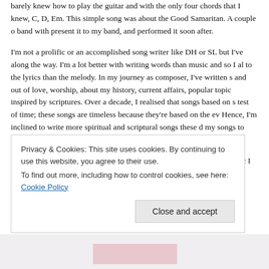barely knew how to play the guitar and with the only four chords that I knew, C, D, Em. This simple song was about the Good Samaritan. A couple of band with present it to my band, and performed it soon after.
I'm not a prolific or an accomplished song writer like DH or SL but I've along the way. I'm a lot better with writing words than music and so I al to the lyrics than the melody. In my journey as composer, I've written s and out of love, worship, about my history, current affairs, popular topi inspired by scriptures. Over a decade, I realised that songs based on s test of time; these songs are timeless because they're based on the ev Hence, I'm inclined to write more spiritual and scriptural songs these d my songs to last.
One of my personal favourite scriptural song is "Tears in a Bottle", whic I remember writing it at my place together with RL and we completed it finalisation, we just knew this would be a good song. He was confident
Privacy & Cookies: This site uses cookies. By continuing to use this website, you agree to their use.
To find out more, including how to control cookies, see here: Cookie Policy
Close and accept